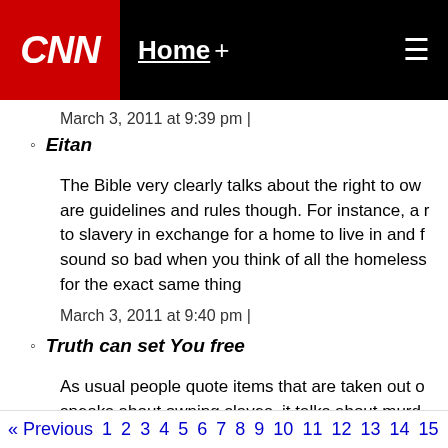CNN | Home +
March 3, 2011 at 9:39 pm |
Eitan
The Bible very clearly talks about the right to ow... are guidelines and rules though. For instance, a r... to slavery in exchange for a home to live in and f... sound so bad when you think of all the homeless... for the exact same thing
March 3, 2011 at 9:40 pm |
Truth can set You free
As usual people quote items that are taken out o... speaks about owning slaves, it talks about murd... at one time sacrificing their children to the god o... where will you read where it says that God appre...
March 3, 2011 at 10:05 pm |
« Previous 1 2 3 4 5 6 7 8 9 10 11 12 13 14 15 16 17 18 19 2...